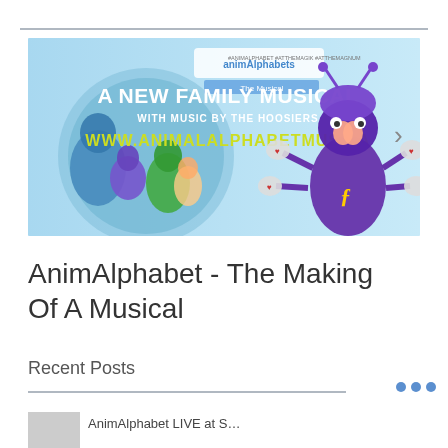[Figure (photo): Promotional banner for AnimAlphabets The Musical. Light blue background with text 'A NEW FAMILY MUSICAL WITH MUSIC BY THE HOOSIERS' and 'WWW.ANIMALALPHABETMUSICA'. Left side shows costumed characters; right side shows a performer in a purple bug costume with multiple gloved hands. A carousel right-arrow is visible.]
AnimAlphabet - The Making Of A Musical
Recent Posts